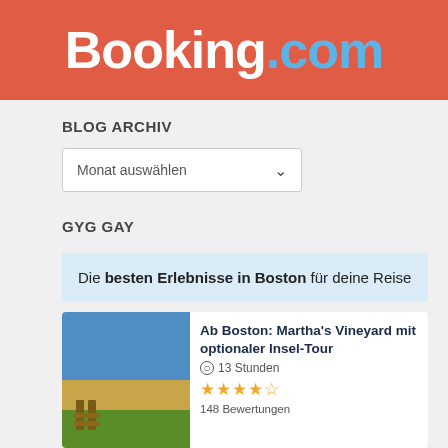[Figure (logo): Booking.com logo on red/coral background banner]
BLOG ARCHIV
Monat auswählen
GYG GAY
Die besten Erlebnisse in Boston für deine Reise
[Figure (photo): Coastal landscape with blue sky, sandy cliff and green grass, with a wooden fence]
Ab Boston: Martha's Vineyard mit optionaler Insel-Tour
13 Stunden
★★★★½
148 Bewertungen